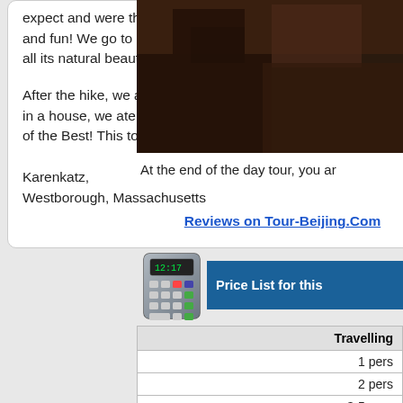expect and were thrilled to have him as our guide. Very imformative, knowledgable and fun! We go to experience a part of The Great Wall that was unrestored and see all its natural beauty. Got a long history lesson along the way!

After the hike, we all went to lunch at a small place at the bottom of the hill. Located in a house, we ate lunch in the proprietors bedroom! What a hoot! Rogin is the Best of the Best! This tour company delivered for us and we are extremely grateful.
Karenkatz,
Westborough, Massachusetts
Reviews on Tour-Beijing.Com
[Figure (photo): Dark/brown rocky surface photo in upper right]
At the end of the day tour, you ar
[Figure (illustration): Calculator icon for price list banner]
Price List for this
| Travelling |
| --- |
| 1 pe |
| 2 pe |
| 3-5 pe |
| 6-9 pe |
| 10 pers |